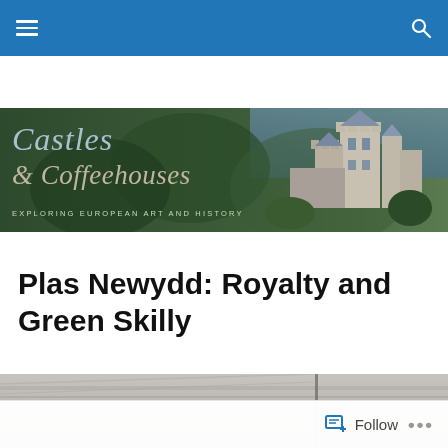Navigation bar with hamburger menu and search icon
[Figure (illustration): Castles & Coffeehouses blog banner with gothic text overlay on dark green forest background and castle photo on right side. Text reads: Castles & Coffeehouses - Exploring European Art and History]
Plas Newydd: Royalty and Green Skilly
[Figure (photo): Partial photo of a bridge or architectural structure in gray tones, cropped at bottom of page]
Follow  ...